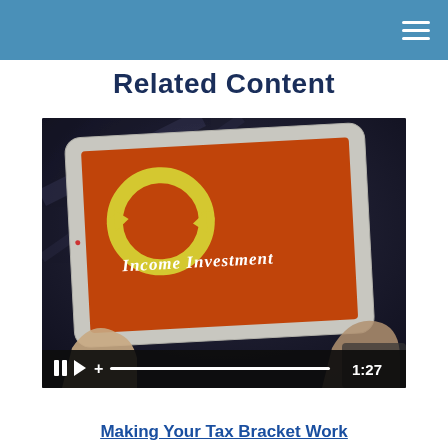Related Content
[Figure (screenshot): Video thumbnail showing hands holding a tablet. The tablet screen displays an orange background with a yellow circular arrow icon and the text 'Income Investment'. Video controls at bottom show pause, play, plus icons, a progress bar, and timestamp 1:27.]
Making Your Tax Bracket Work